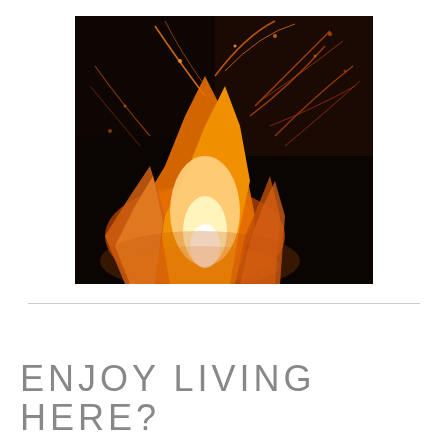[Figure (photo): Close-up photograph of a campfire or bonfire at night, showing bright orange and yellow flames with glowing embers and sparks streaking across a dark background.]
ENJOY LIVING HERE?